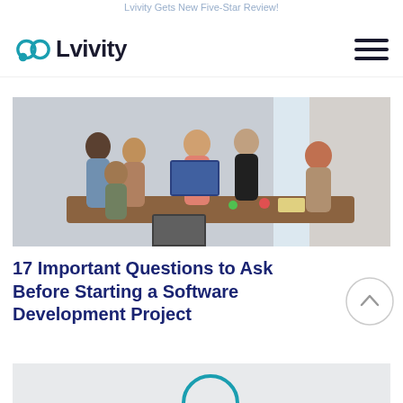Lvivity Gets New Five-Star Review!
[Figure (logo): Lvivity logo with teal infinity-like icon and bold dark text]
[Figure (photo): Group of people collaborating around a table with computers in a bright office]
17 Important Questions to Ask Before Starting a Software Development Project
[Figure (photo): Partially visible second article image at the bottom of the page]